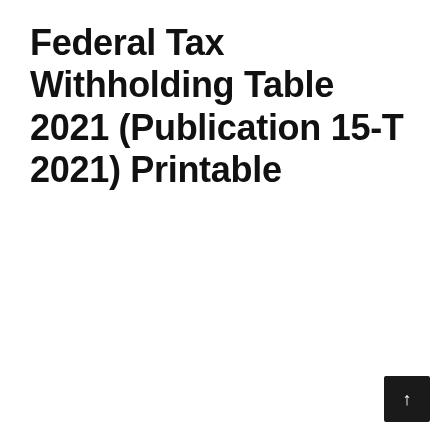Federal Tax Withholding Table 2021 (Publication 15-T 2021) Printable